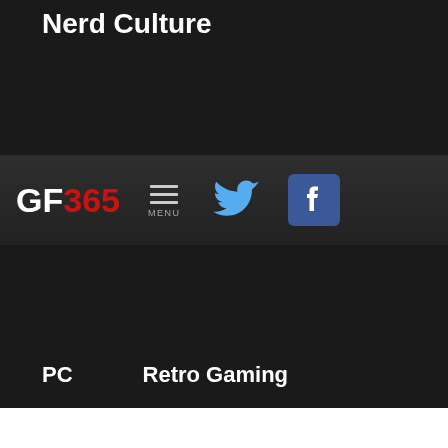Nerd Culture
[Figure (logo): GF365 website logo with navigation bar showing hamburger menu icon, Twitter bird icon, and Facebook icon]
PC
Retro Gaming
Tabletop
VR